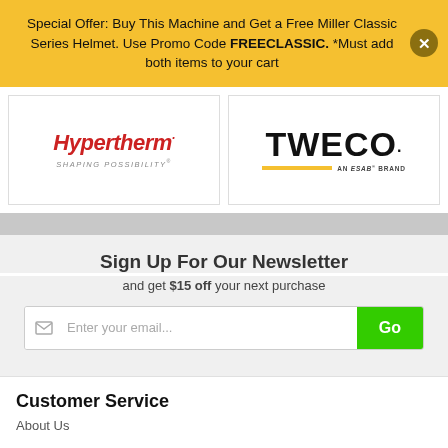Special Offer: Buy This Machine and Get a Free Miller Classic Series Helmet. Use Promo Code FREECLASSIC. *Must add both items to your cart
[Figure (logo): Hypertherm logo with tagline 'Shaping Possibility']
[Figure (logo): Tweco logo with 'An ESAB Brand' tagline]
Sign Up For Our Newsletter
and get $15 off your next purchase
Enter your email...
Customer Service
About Us